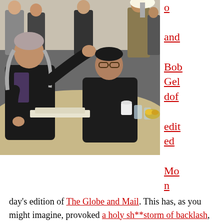[Figure (photo): Group of people seated and standing around a table in an office/meeting setting. A man with long gray hair gestures with his hands while talking; beside him sits a man with dark hair and glasses (Bono). Several other men stand in the background. Papers and cups are on the table.]
o and Bob Geldof edited Monday's edition of The Globe and Mail. This has, as you might imagine, provoked a holy sh**storm of backlash, particularly online, where the blahblahblah-richrockstars-hype-hypocrites-how-dare-theys were out in full force since the announcement of their editorship happened last week. Yawn. I'm just happy it made for damn good reading, and gave voice to a range of